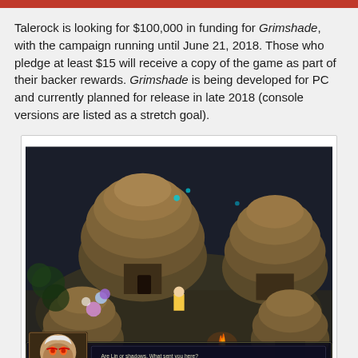Talerock is looking for $100,000 in funding for Grimshade, with the campaign running until June 21, 2018. Those who pledge at least $15 will receive a copy of the game as part of their backer rewards. Grimshade is being developed for PC and currently planned for release in late 2018 (console versions are listed as a stretch goal).
[Figure (screenshot): Screenshot from Grimshade game showing a top-down village scene at night with thatched-roof huts, a character with floating orbs nearby, a campfire, and a dialog box at the bottom with a character portrait on the left.]